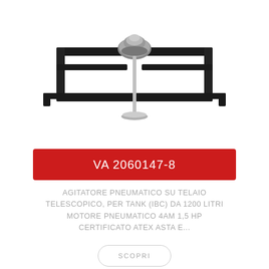[Figure (photo): Pneumatic agitator on telescopic frame for IBC tank, with pneumatic motor on top and mixing shaft with propeller at bottom. Black metal rectangular frame structure.]
VA 2060147-8
AGITATORE PNEUMATICO SU TELAIO TELESCOPICO, PER TANK (IBC) DA 1200 LITRI MOTORE PNEUMATICO 4AM 1,5 HP CERTIFICATO ATEX ASTA E...
SCOPRI